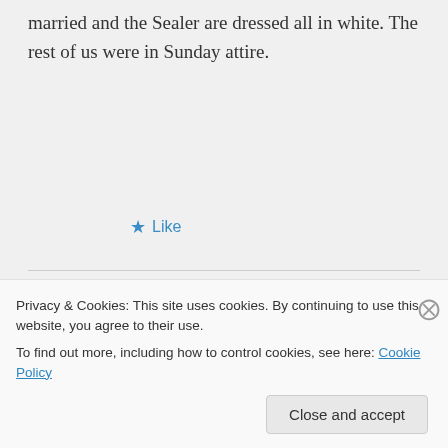married and the Sealer are dressed all in white. The rest of us were in Sunday attire.
★ Like
Danny & Patty on July 6, 2012 at 11:46 pm
👍 1 👎 0 ℹ Rate This
Privacy & Cookies: This site uses cookies. By continuing to use this website, you agree to their use.
To find out more, including how to control cookies, see here: Cookie Policy
Close and accept